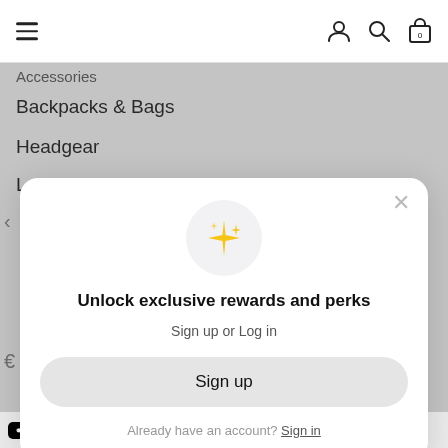Accessories
Backpacks & Bags
Headgear
Lanyards
[Figure (screenshot): Modal popup with sparkle icon, heading 'Unlock exclusive rewards and perks', subtitle 'Sign up or Log in', Sign up button, and 'Already have an account? Sign in' link]
Apple Pay | PayPal | Visa | (other payment icon)